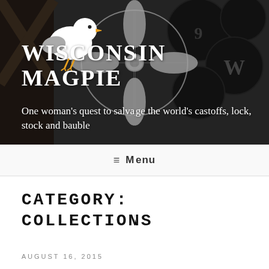[Figure (photo): Header banner photo showing vintage items including an old electric fan, black circular signs with letters, a wooden surface, overlaid with white magpie bird logo and site title text]
WISCONSIN MAGPIE
One woman's quest to salvage the world's castoffs, lock, stock and bauble
≡ Menu
CATEGORY:
COLLECTIONS
AUGUST 16, 2015
Collecting | Vintage